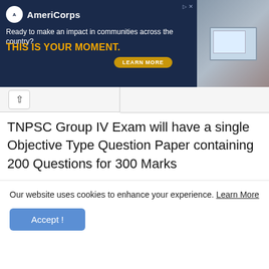[Figure (screenshot): AmeriCorps advertisement banner: dark navy background with text 'Ready to make an impact in communities across the country? THIS IS YOUR MOMENT.' with a LEARN MORE button and a photo of people at computers on the right.]
TNPSC Group IV Exam will have a single Objective Type Question Paper containing 200 Questions for 300 Marks
| Subject | Questions | Duration |
| --- | --- | --- |
| General Studies | 75 |  |
| Aptitude | 25 |  |
Our website uses cookies to enhance your experience. Learn More
Accept !